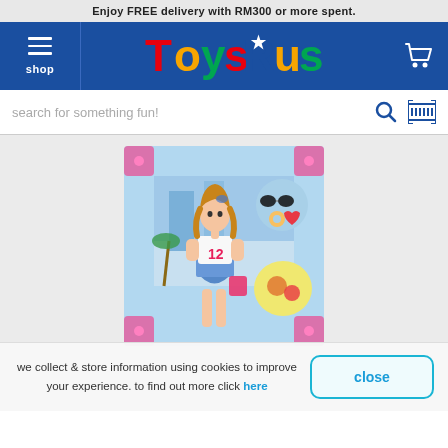Enjoy FREE delivery with RM300 or more spent.
[Figure (logo): Toys R Us logo with colorful letters and star in the R]
search for something fun!
[Figure (photo): Barbie-style fashion doll in white top and blue skirt inside colorful toy packaging with accessories]
we collect & store information using cookies to improve your experience. to find out more click here